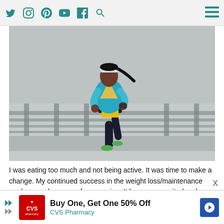Social media navigation icons: Twitter, Instagram, Pinterest, YouTube, Facebook, Search, Menu
[Figure (photo): A woman runner in a blue shirt, white visor, wearing a yellow race bib and hydration belt, running on what appears to be a bridge overpass with concrete railings in the background on an overcast day.]
I was eating too much and not being active. It was time to make a change. My continued success in the weight loss/maintenance mode game has come from running. It keeps me excited and interested. Running offers me balance (even though I'm sure a lot of you think there's not a balance with it). Running gi me something to focus on and keeps me moving, literally! The best part ab
[Figure (advertisement): CVS Pharmacy advertisement: Buy One, Get One 50% Off]